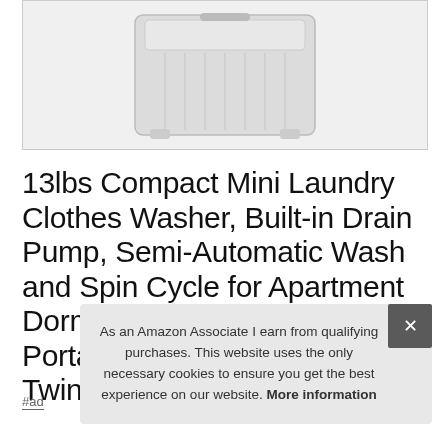[Figure (photo): Photo of a portable twin tub washing machine, light gray color, shown from the front-top angle on a white background.]
13lbs Compact Mini Laundry Clothes Washer, Built-in Drain Pump, Semi-Automatic Wash and Spin Cycle for Apartment Dorm Camping RV, Giantex Portable Washing Machine, Twin Tub Wa...
#ad
As an Amazon Associate I earn from qualifying purchases. This website uses the only necessary cookies to ensure you get the best experience on our website. More information